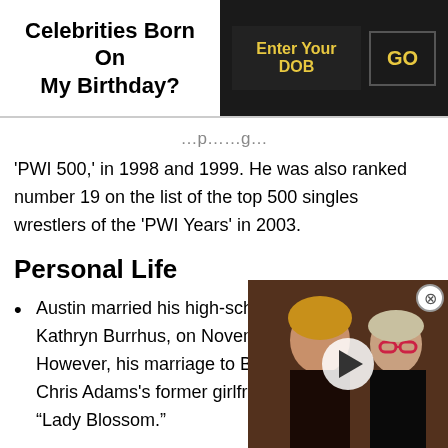Celebrities Born On My Birthday?
'PWI 500,' in 1998 and 1999. He was also ranked number 19 on the list of the top 500 singles wrestlers of the 'PWI Years' in 2003.
Personal Life
Austin married his high-school sweetheart, Kathryn Burrhus, on November 24, 1990. However, his marriage to Burrhus ended [obscured by video] Chris Adams's former girlfri[end] [obscured] "Lady Blossom."
Austin and Clarke married [continues below]
[Figure (photo): Photo of two celebrities with a video play button overlay]